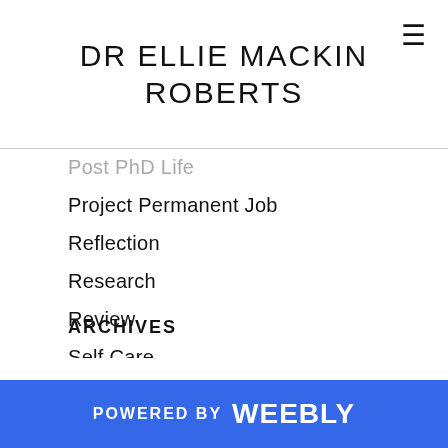DR ELLIE MACKIN ROBERTS
Post PhD Life
Project Permanent Job
Reflection
Research
Review
Self Care
Twitter
Underworld
Underworld Gods
Vlog
We The Humanities
YouTube
ARCHIVES
POWERED BY weebly